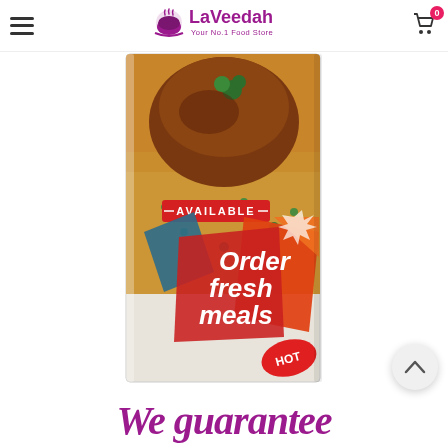LaVeedah - Your No.1 Food Store
[Figure (illustration): Product image showing a food container with fried rice and chicken, overlaid with promotional graphic text 'AVAILABLE - Order fresh meals HOT' in red, orange, and teal geometric shapes]
We guarantee